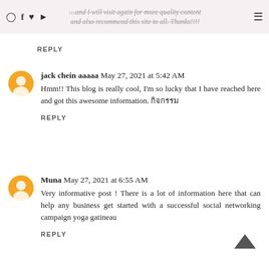…and I will visit again for more quality content and also recommend this site to all. Thanks!!!
REPLY
jack chein aaaaa May 27, 2021 at 5:42 AM
Hmm!! This blog is really cool, I'm so lucky that I have reached here and got this awesome information. กิจกรรม
REPLY
Muna May 27, 2021 at 6:55 AM
Very informative post ! There is a lot of information here that can help any business get started with a successful social networking campaign yoga gatineau
REPLY